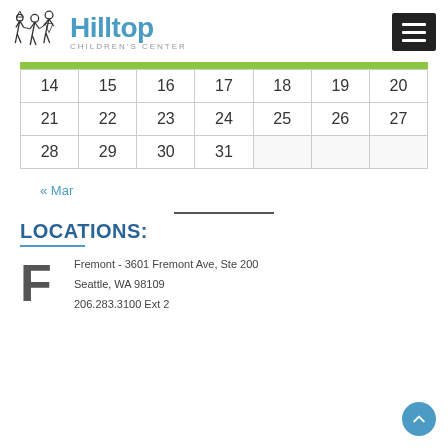Hilltop Children's Center
| 14 | 15 | 16 | 17 | 18 | 19 | 20 |
| 21 | 22 | 23 | 24 | 25 | 26 | 27 |
| 28 | 29 | 30 | 31 |  |  |  |
« Mar
LOCATIONS:
Fremont - 3601 Fremont Ave, Ste 200
Seattle, WA 98109
206.283.3100 Ext 2